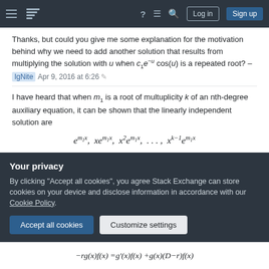Stack Exchange navigation bar with hamburger, logo, help, chat, search, Log in, Sign up
Thanks, but could you give me some explanation for the motivation behind why we need to add another solution that results from multiplying the solution with u when c₁e⁻ᵘcos(u) is a repeated root? – IgNite Apr 9, 2016 at 6:26
I have heard that when m₁ is a root of multuplicity k of an nth-degree auxiliary equation, it can be shown that the linearly independent solution are
but just wondering what is the motivation or the explanation behind this? – IgNite Apr 9, 2016 at 6:33
Your privacy
By clicking "Accept all cookies", you agree Stack Exchange can store cookies on your device and disclose information in accordance with our Cookie Policy.